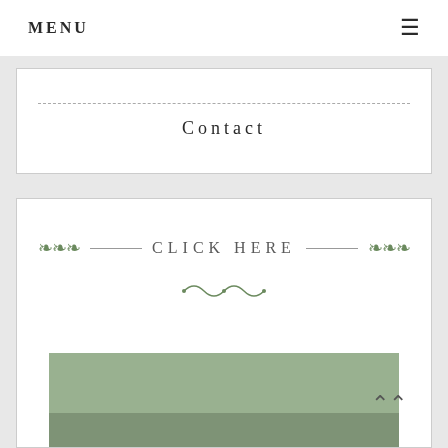MENU
Contact
CLICK HERE
[Figure (photo): Interior view of a Mercedes-Benz luxury car showing the driver's hands on the steering wheel with dashboard instruments visible]